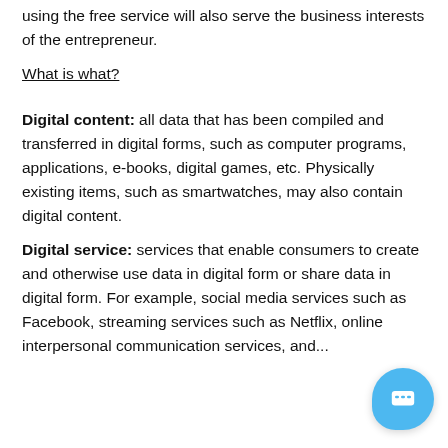using the free service will also serve the business interests of the entrepreneur.
What is what?
Digital content: all data that has been compiled and transferred in digital forms, such as computer programs, applications, e-books, digital games, etc. Physically existing items, such as smartwatches, may also contain digital content.
Digital service: services that enable consumers to create and otherwise use data in digital form or share data in digital form. For example, social media services such as Facebook, streaming services such as Netflix, online interpersonal communication services, and...